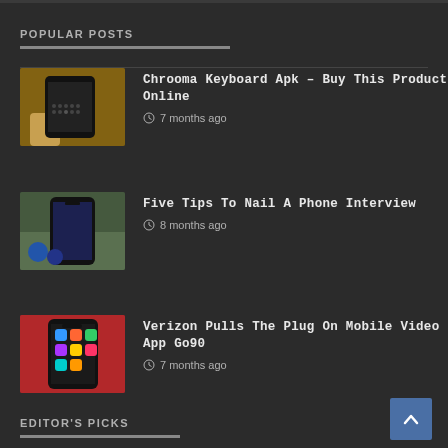POPULAR POSTS
Chrooma Keyboard Apk – Buy This Product Online
7 months ago
Five Tips To Nail A Phone Interview
8 months ago
Verizon Pulls The Plug On Mobile Video App Go90
7 months ago
EDITOR'S PICKS